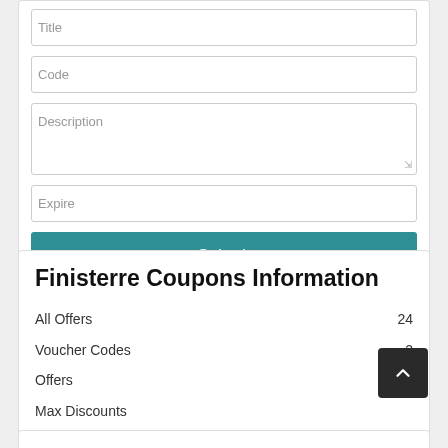Title
Code
Description
Expire
Submit
Finisterre Coupons Information
| All Offers | 24 |
| Voucher Codes | 2 |
| Offers |  |
| Max Discounts |  |
| Last Updated: | August 2022 |